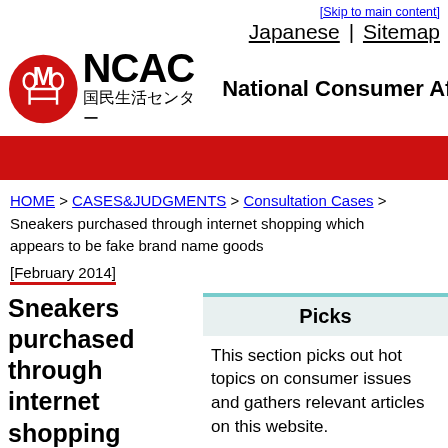[Skip to main content]
Japanese | Sitemap
[Figure (logo): NCAC National Consumer Affairs logo with red circle icon and Japanese text 国民生活センター]
National Consumer Af
HOME > CASES&JUDGMENTS > Consultation Cases > Sneakers purchased through internet shopping which appears to be fake brand name goods
[February 2014]
Sneakers purchased through internet shopping which appears
Picks
This section picks out hot topics on consumer issues and gathers relevant articles on this website.